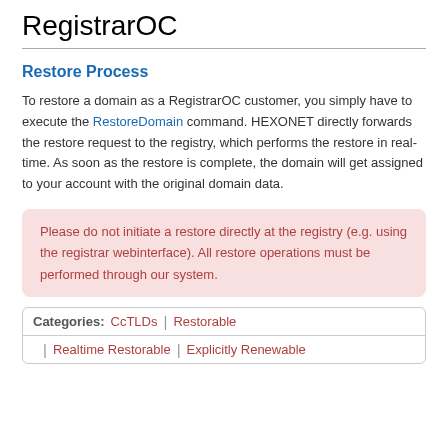RegistrarOC
Restore Process
To restore a domain as a RegistrarOC customer, you simply have to execute the RestoreDomain command. HEXONET directly forwards the restore request to the registry, which performs the restore in real-time. As soon as the restore is complete, the domain will get assigned to your account with the original domain data.
Please do not initiate a restore directly at the registry (e.g. using the registrar webinterface). All restore operations must be performed through our system.
Categories: CcTLDs | Restorable | Realtime Restorable | Explicitly Renewable